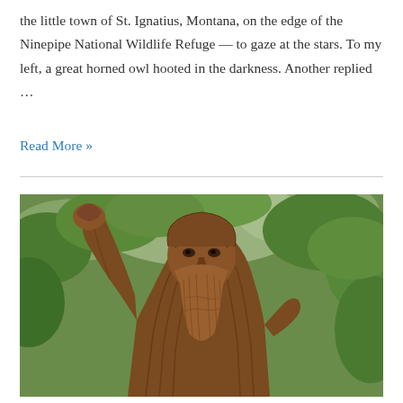the little town of St. Ignatius, Montana, on the edge of the Ninepipe National Wildlife Refuge — to gaze at the stars. To my left, a great horned owl hooted in the darkness. Another replied …
Read More »
[Figure (photo): A wooden carved statue of a large Bigfoot/Sasquatch figure with one arm raised, detailed beard and hair, set against a green leafy tree background.]